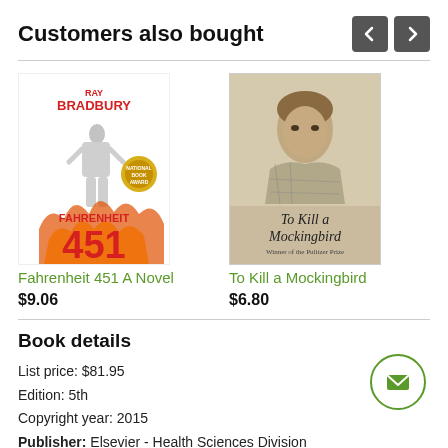Customers also bought
[Figure (illustration): Book cover: Fahrenheit 451 by Ray Bradbury — red and black text with illustrated figure and gold medal badge]
Fahrenheit 451 A Novel
$9.06
[Figure (photo): Book cover: To Kill a Mockingbird — sepia-toned photo of a child with title text overlay]
To Kill a Mockingbird
$6.80
Book details
List price: $81.95
Edition: 5th
Copyright year: 2015
Publisher: Elsevier - Health Sciences Division